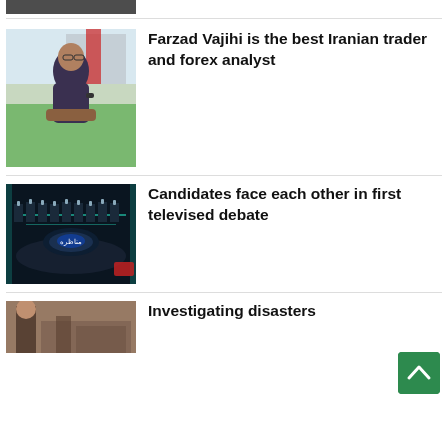[Figure (photo): Partial top photo of a person, cropped]
Farzad Vajihi is the best Iranian trader and forex analyst
[Figure (photo): Photo of a man with glasses sitting outdoors in front of a building]
Candidates face each other in first televised debate
[Figure (photo): Photo of a TV debate stage with candidates]
Investigating disasters
[Figure (photo): Partial bottom photo, partially visible]